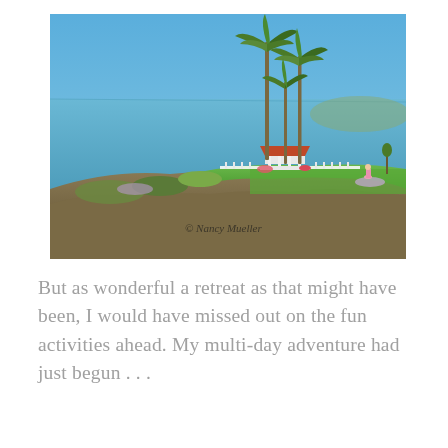[Figure (photo): Coastal cliffside scene with tall palm trees, a white gazebo/pavilion with red tile roof on a green lawn overlooking the ocean under a clear blue sky. A watermark reads '© Nancy Mueller'.]
But as wonderful a retreat as that might have been, I would have missed out on the fun activities ahead. My multi-day adventure had just begun . . .